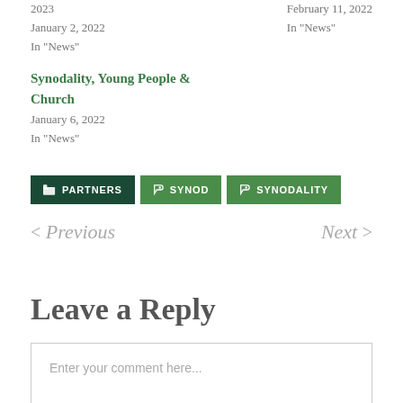2023
January 2, 2022
In "News"
February 11, 2022
In "News"
Synodality, Young People & Church
January 6, 2022
In "News"
PARTNERS
SYNOD
SYNODALITY
< Previous
Next >
Leave a Reply
Enter your comment here...